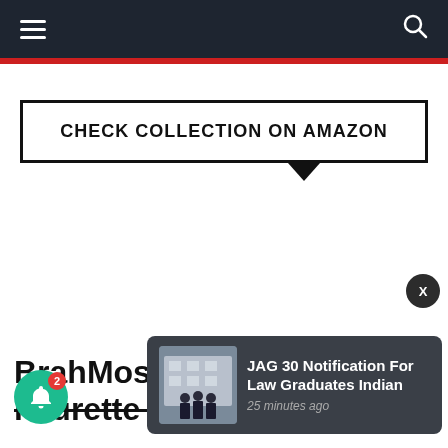Navigation bar with hamburger menu and search icon
CHECK COLLECTION ON AMAZON
BrahMos ... icturette topic
JAG 30 Notification For Law Graduates Indian
25 minutes ago